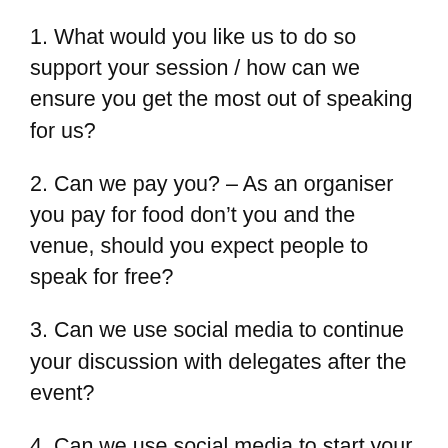1. What would you like us to do so support your session / how can we ensure you get the most out of speaking for us?
2. Can we pay you? – As an organiser you pay for food don’t you and the venue, should you expect people to speak for free?
3. Can we use social media to continue your discussion with delegates after the event?
4. Can we use social media to start your conversation with delegates before the